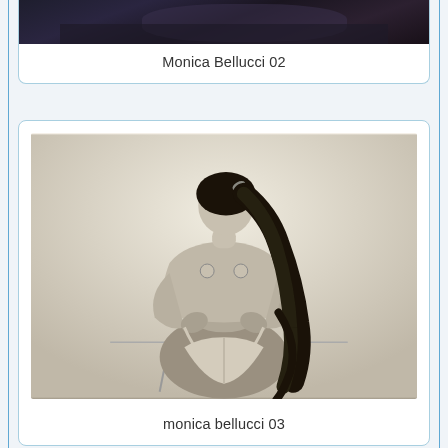[Figure (photo): Partial view of a person in dark clothing, cropped at top of page]
Monica Bellucci 02
[Figure (photo): Black and white photograph of a woman seen from behind with long dark hair in a ponytail, wearing minimal clothing]
monica bellucci 03